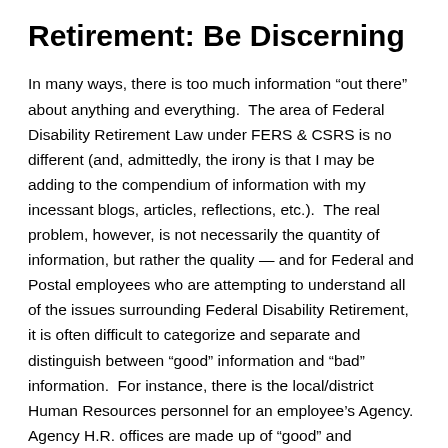Retirement: Be Discerning
In many ways, there is too much information “out there” about anything and everything.  The area of Federal Disability Retirement Law under FERS & CSRS is no different (and, admittedly, the irony is that I may be adding to the compendium of information with my incessant blogs, articles, reflections, etc.).  The real problem, however, is not necessarily the quantity of information, but rather the quality — and for Federal and Postal employees who are attempting to understand all of the issues surrounding Federal Disability Retirement, it is often difficult to categorize and separate and distinguish between “good” information and “bad” information.  For instance, there is the local/district Human Resources personnel for an employee’s Agency.  Agency H.R. offices are made up of “good” and “bad” and both they are a start and